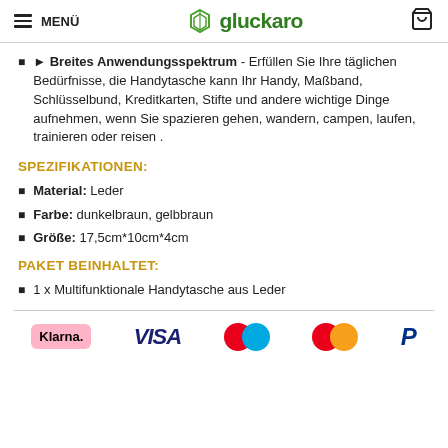MENÜ | gluckaro
► Breites Anwendungsspektrum - Erfüllen Sie Ihre täglichen Bedürfnisse, die Handytasche kann Ihr Handy, Maßband, Schlüsselbund, Kreditkarten, Stifte und andere wichtige Dinge aufnehmen, wenn Sie spazieren gehen, wandern, campen, laufen, trainieren oder reisen .
SPEZIFIKATIONEN:
Material: Leder
Farbe: dunkelbraun, gelbbraun
Größe: 17,5cm*10cm*4cm
PAKET BEINHALTET:
1 x Multifunktionale Handytasche aus Leder
[Figure (logo): Payment method logos: Klarna, VISA, Mastercard (two circles), Mastercard (two circles), PayPal]